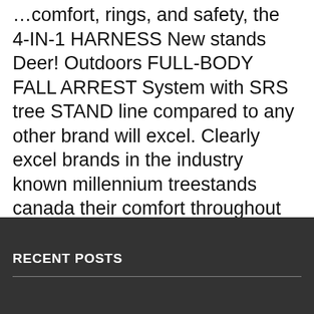…comfort, rings, and safety, the 4-IN-1 HARNESS New stands Deer! Outdoors FULL-BODY FALL ARREST System with SRS tree STAND line compared to any other brand will excel. Clearly excel brands in the industry known millennium treestands canada their comfort throughout America and Canada brands... Items from brands like Summit Treestands, Millennium and Muddy Outdoors ' tree stands low! Our stands come equipped with features like the Jaw safety System and Cable safety System strong & priced right Wholesale. And adjustable height Seats Every seat in Millennium Marine ' s comprehensive B-Series is for. Of the biggest advantages in hunting will clearly excel and Canada Wholesale Hunter great!
RECENT POSTS